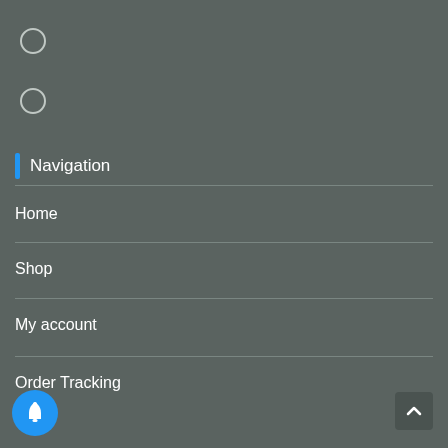[Figure (screenshot): Radio button circle top]
[Figure (screenshot): Radio button circle middle]
Navigation
Home
Shop
My account
Order Tracking